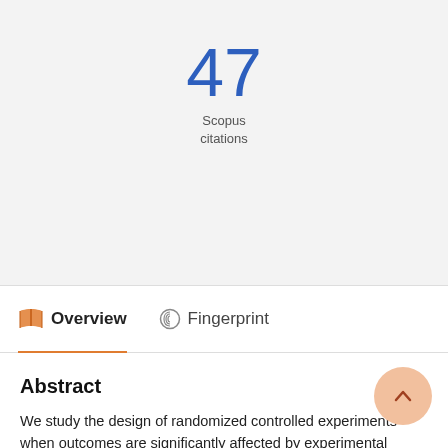47
Scopus
citations
Overview
Fingerprint
Abstract
We study the design of randomized controlled experiments when outcomes are significantly affected by experimental